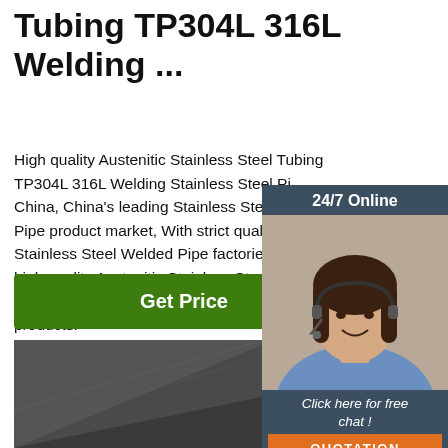Tubing TP304L 316L Welding ...
High quality Austenitic Stainless Steel Tubing TP304L 316L Welding Stainless Steel Pi China, China's leading Stainless Steel W Pipe product market, With strict quality c Stainless Steel Welded Pipe factories, P high quality Austenitic Stainless Steel Tu TP304L 316L Welding Stainless Steel Pi products.
[Figure (photo): Customer service representative woman with headset smiling, with 24/7 Online header, Click here for free chat text, and QUOTATION orange button on dark blue background]
[Figure (other): Get Price green button]
[Figure (photo): Dark gray/black metal surface at an angle]
[Figure (logo): TOP logo with orange dots arranged in triangle above orange TOP text]